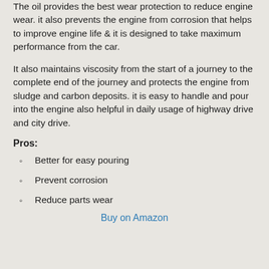The oil provides the best wear protection to reduce engine wear. it also prevents the engine from corrosion that helps to improve engine life & it is designed to take maximum performance from the car.
It also maintains viscosity from the start of a journey to the complete end of the journey and protects the engine from sludge and carbon deposits. it is easy to handle and pour into the engine also helpful in daily usage of highway drive and city drive.
Pros:
Better for easy pouring
Prevent corrosion
Reduce parts wear
Buy on Amazon